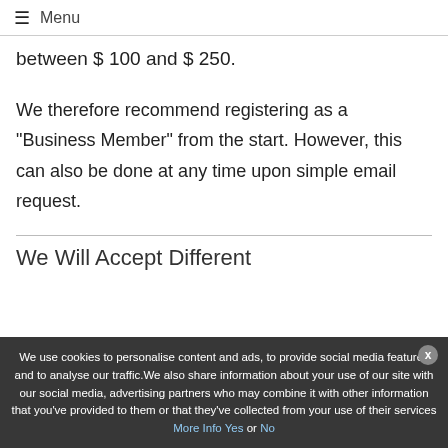☰ Menu
between $ 100 and $ 250.
We therefore recommend registering as a "Business Member" from the start. However, this can also be done at any time upon simple email request.
We Will Accept Different
We use cookies to personalise content and ads, to provide social media features and to analyse our traffic. We also share information about your use of our site with our social media, advertising partners who may combine it with other information that you've provided to them or that they've collected from your use of their services More Info Yes or No